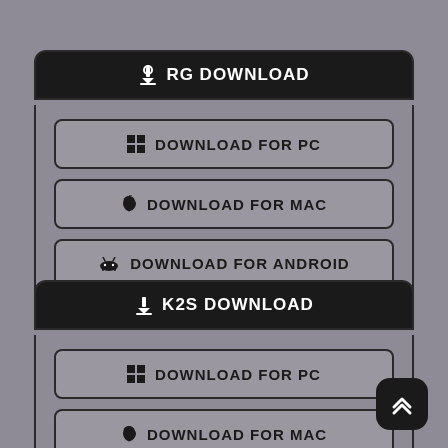RG DOWNLOAD
DOWNLOAD FOR PC
DOWNLOAD FOR MAC
DOWNLOAD FOR ANDROID
K2S DOWNLOAD
DOWNLOAD FOR PC
DOWNLOAD FOR MAC